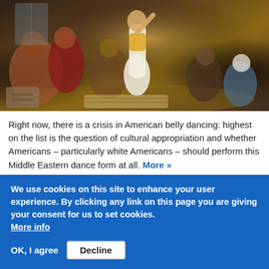[Figure (illustration): Oil painting depicting a belly dancer performing in a Middle Eastern interior setting, surrounded by seated figures watching. The dancer is in the center wearing white and yellow costume with arms raised. Several men in traditional Middle Eastern clothing are seated around the room.]
Right now, there is a crisis in American belly dancing: highest on the list is the question of cultural appropriation and whether Americans – particularly white Americans – should perform this Middle Eastern dance form at all. More »
Egypt's great River Nile!
We use cookies on this site to enhance your user experience. By clicking any link on this page you are giving your consent for us to set cookies. More info
OK, I agree   Decline